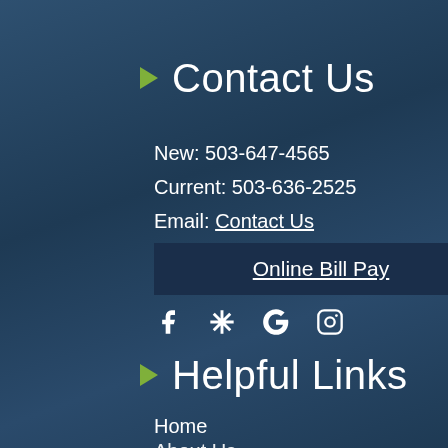Contact Us
New: 503-647-4565
Current: 503-636-2525
Email: Contact Us
Online Bill Pay
[Figure (infographic): Social media icons: Facebook, Yelp, Google, Instagram]
Helpful Links
Home
About Us
Dental Services
Dental Blog